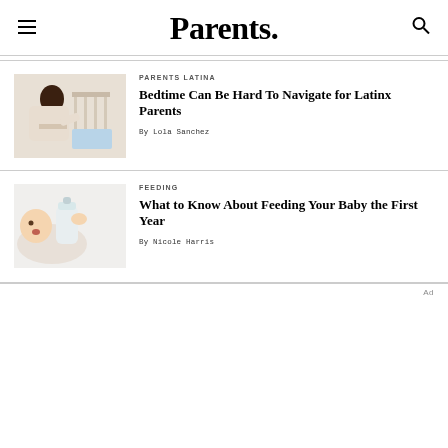Parents.
[Figure (photo): A mother leaning over a crib tending to a baby in a white nursery setting]
PARENTS LATINA
Bedtime Can Be Hard To Navigate for Latinx Parents
By Lola Sanchez
[Figure (photo): A baby drinking from a bottle while lying down, on white background]
FEEDING
What to Know About Feeding Your Baby the First Year
By Nicole Harris
Ad